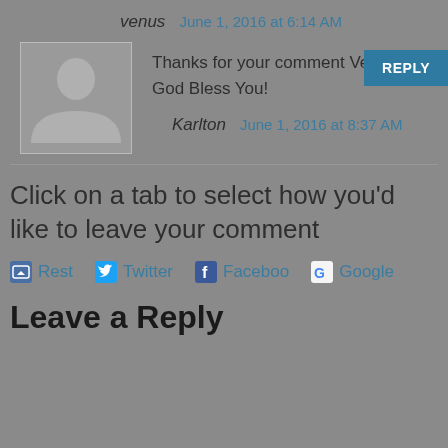venus   June 1, 2016 at 6:14 AM
[Figure (illustration): User avatar placeholder image — silhouette of a person on grey background]
Thanks for your comment Venus!
God Bless You!
REPLY
Karlton   June 1, 2016 at 8:37 AM
Click on a tab to select how you'd like to leave your comment
Rest   Twitter   Facebook   Google
Leave a Reply